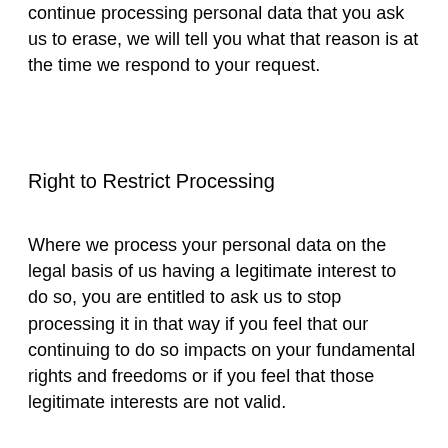continue processing personal data that you ask us to erase, we will tell you what that reason is at the time we respond to your request.
Right to Restrict Processing
Where we process your personal data on the legal basis of us having a legitimate interest to do so, you are entitled to ask us to stop processing it in that way if you feel that our continuing to do so impacts on your fundamental rights and freedoms or if you feel that those legitimate interests are not valid.
You may also ask us to stop processing your personal data (a) if you dispute the accuracy of that personal data and want us verify its accuracy; (b) where it has been established that our use of the data is unlawful but you do not